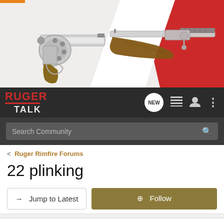[Figure (photo): Banner image showing two Ruger firearms: a stainless revolver on the left and a bolt-action rifle with wooden stock on the right, on a white and red background]
[Figure (logo): Ruger Talk forum logo in white/red on dark background with navigation icons (NEW bubble, list icon, user icon, dots menu)]
Search Community
< Ruger Rimfire Forums
22 plinking
→ Jump to Latest
+ Follow
1 - 7 of 7 Posts
fredc · Registered
Joined Jan 30, 2018 · 23 Posts